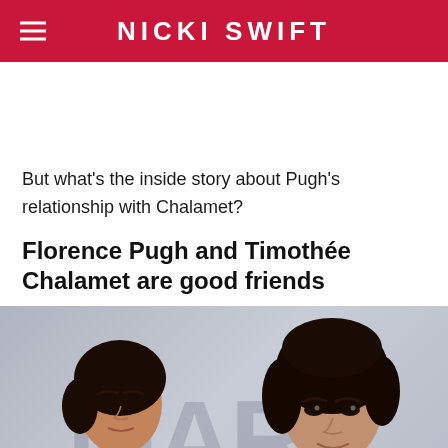NICKI SWIFT
But what's the inside story about Pugh's relationship with Chalamet?
Florence Pugh and Timothée Chalamet are good friends
[Figure (photo): Photo of Florence Pugh and Timothée Chalamet posing together at an event in front of a branded backdrop with large letters visible in the background.]